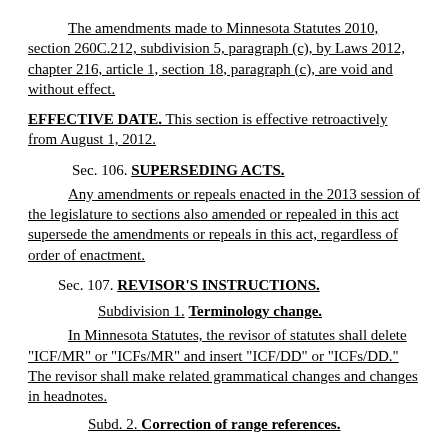The amendments made to Minnesota Statutes 2010, section 260C.212, subdivision 5, paragraph (c), by Laws 2012, chapter 216, article 1, section 18, paragraph (c), are void and without effect.
EFFECTIVE DATE. This section is effective retroactively from August 1, 2012.
Sec. 106. SUPERSEDING ACTS.
Any amendments or repeals enacted in the 2013 session of the legislature to sections also amended or repealed in this act supersede the amendments or repeals in this act, regardless of order of enactment.
Sec. 107. REVISOR'S INSTRUCTIONS.
Subdivision 1. Terminology change.
In Minnesota Statutes, the revisor of statutes shall delete "ICF/MR" or "ICFs/MR" and insert "ICF/DD" or "ICFs/DD." The revisor shall make related grammatical changes and changes in headnotes.
Subd. 2. Correction of range references.